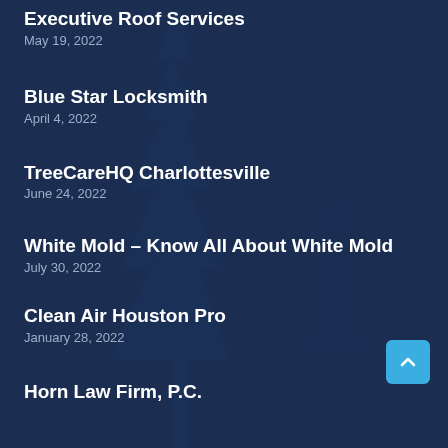Executive Roof Services
May 19, 2022
Blue Star Locksmith
April 4, 2022
TreeCareHQ Charlottesville
June 24, 2022
White Mold – Know All About White Mold
July 30, 2022
Clean Air Houston Pro
January 28, 2022
Horn Law Firm, P.C.